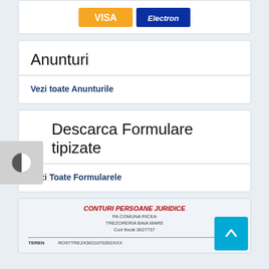[Figure (logo): Visa and Electron payment logos]
Anunturi
Vezi toate Anunturile
Descarca Formulare tipizate
Vezi Toate Formularele
[Figure (screenshot): CONTURI PERSOANE JURIDICE - PA COMUNA RICEA, TREZORERIA BAIA MARE, Cod fiscal 3627737. TEREN: RO97TREZ43621070202XXX]